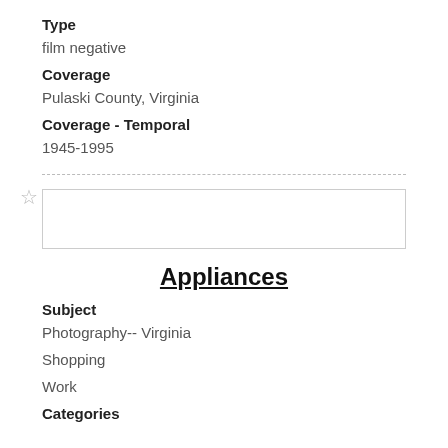Type
film negative
Coverage
Pulaski County, Virginia
Coverage - Temporal
1945-1995
Appliances
Subject
Photography-- Virginia
Shopping
Work
Categories